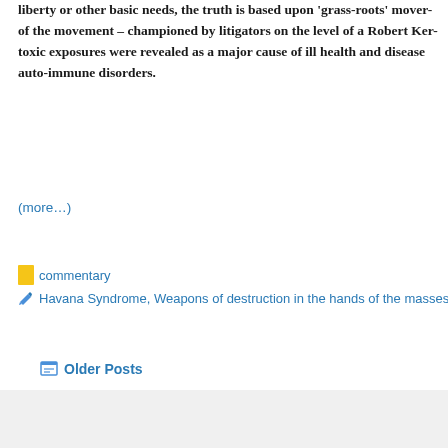liberty or other basic needs, the truth is based upon 'grass-roots' movement of the movement – championed by litigators on the level of a Robert Ken toxic exposures were revealed as a major cause of ill health and disease auto-immune disorders.
(more…)
commentary
Havana Syndrome, Weapons of destruction in the hands of the masses (W
Older Posts